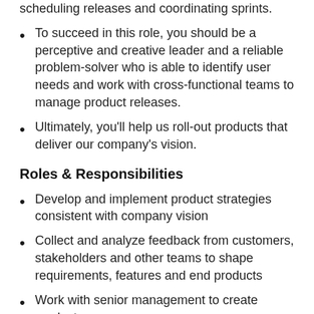scheduling releases and coordinating sprints.
To succeed in this role, you should be a perceptive and creative leader and a reliable problem-solver who is able to identify user needs and work with cross-functional teams to manage product releases.
Ultimately, you'll help us roll-out products that deliver our company's vision.
Roles & Responsibilities
Develop and implement product strategies consistent with company vision
Collect and analyze feedback from customers, stakeholders and other teams to shape requirements, features and end products
Work with senior management to create product